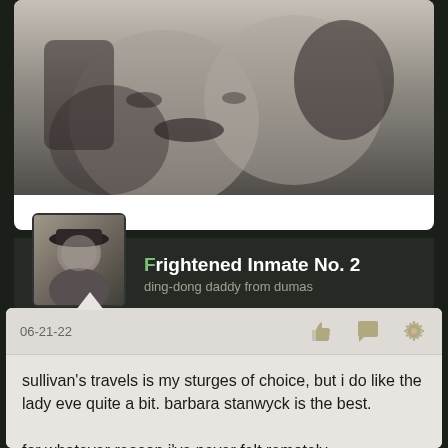[Figure (photo): Black and white photo showing close-up of faces, partially cropped]
Frightened Inmate No. 2
ding-dong daddy from dumas
06-21-22
sullivan's travels is my sturges of choice, but i do like the lady eve quite a bit. barbara stanwyck is the best.

for whatever reason i've never felt remotely